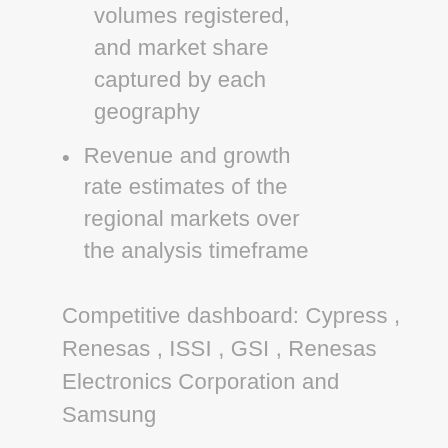volumes registered, and market share captured by each geography
Revenue and growth rate estimates of the regional markets over the analysis timeframe
Competitive dashboard: Cypress , Renesas , ISSI , GSI , Renesas Electronics Corporation and Samsung